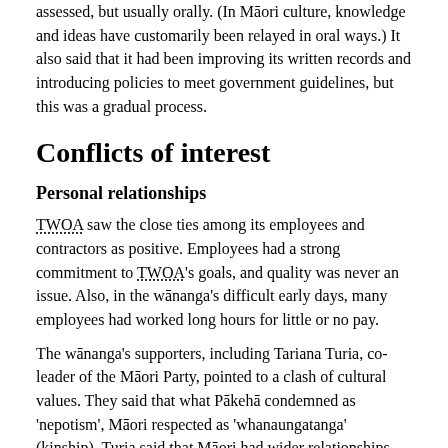assessed, but usually orally. (In Māori culture, knowledge and ideas have customarily been relayed in oral ways.) It also said that it had been improving its written records and introducing policies to meet government guidelines, but this was a gradual process.
Conflicts of interest
Personal relationships
TWOA saw the close ties among its employees and contractors as positive. Employees had a strong commitment to TWOA's goals, and quality was never an issue. Also, in the wānanga's difficult early days, many employees had worked long hours for little or no pay.
The wānanga's supporters, including Tariana Turia, co-leader of the Māori Party, pointed to a clash of cultural values. They said that what Pākehā condemned as 'nepotism', Māori respected as 'whanaungatanga' (kinship). Turia said that Māori had wider relationships than